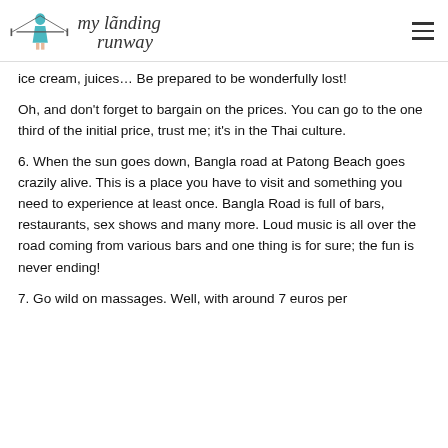my landing runway
ice cream, juices… Be prepared to be wonderfully lost!
Oh, and don't forget to bargain on the prices. You can go to the one third of the initial price, trust me; it's in the Thai culture.
6. When the sun goes down, Bangla road at Patong Beach goes crazily alive. This is a place you have to visit and something you need to experience at least once. Bangla Road is full of bars, restaurants, sex shows and many more. Loud music is all over the road coming from various bars and one thing is for sure; the fun is never ending!
7. Go wild on massages. Well, with around 7 euros per